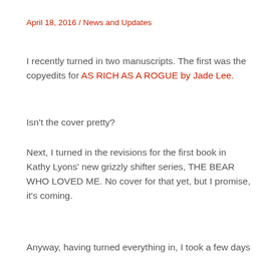April 18, 2016 / News and Updates
I recently turned in two manuscripts. The first was the copyedits for AS RICH AS A ROGUE by Jade Lee.
Isn't the cover pretty?
Next, I turned in the revisions for the first book in Kathy Lyons' new grizzly shifter series, THE BEAR WHO LOVED ME. No cover for that yet, but I promise, it's coming.
Anyway, having turned everything in, I took a few days off. But, well, Monday was an annihilation of a work day...